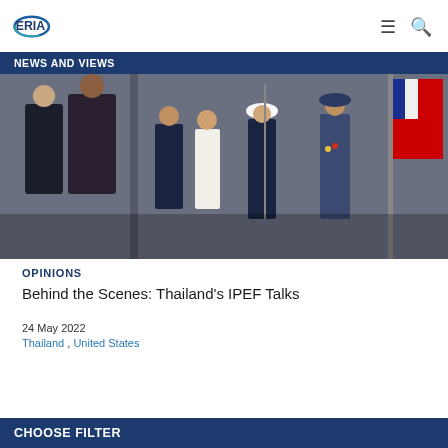ERIA — navigation header with logo, menu and search icons
NEWS AND VIEWS
[Figure (photo): Military honor guard ceremony with officials in suits standing on steps, uniformed military personnel in foreground, flag visible on the right]
OPINIONS
Behind the Scenes: Thailand's IPEF Talks
24 May 2022
Thailand , United States
CHOOSE FILTER